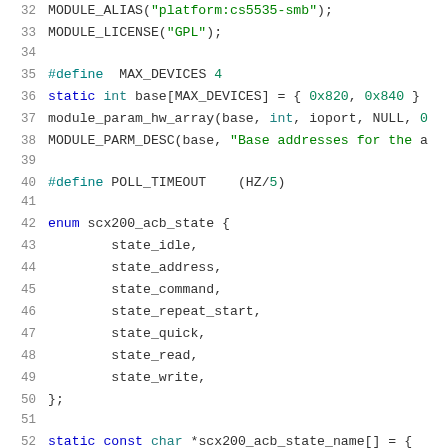[Figure (screenshot): Source code listing (C language) showing lines 32-52 of a Linux kernel driver file. Lines include MODULE_ALIAS, MODULE_LICENSE, preprocessor defines for MAX_DEVICES and POLL_TIMEOUT, static int array initialization, module_param_hw_array, MODULE_PARM_DESC, and an enum scx200_acb_state definition with values state_idle, state_address, state_command, state_repeat_start, state_quick, state_read, state_write, and the beginning of static const char declaration.]